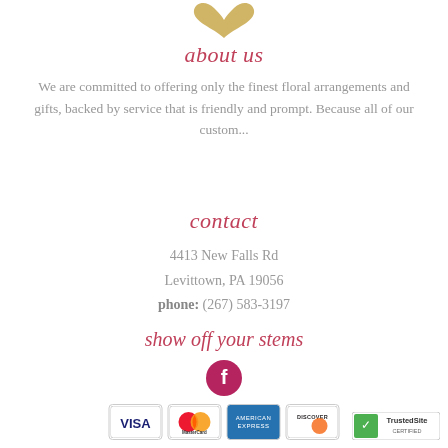[Figure (illustration): Partial gold/tan heart or flower logo at top center]
about us
We are committed to offering only the finest floral arrangements and gifts, backed by service that is friendly and prompt. Because all of our custom...
contact
4413 New Falls Rd
Levittown, PA 19056
phone: (267) 583-3197
show off your stems
[Figure (logo): Facebook icon - white f on crimson/magenta circle]
[Figure (logo): Payment card logos: Visa, MasterCard, American Express, Discover]
[Figure (logo): TrustedSite badge at bottom right]